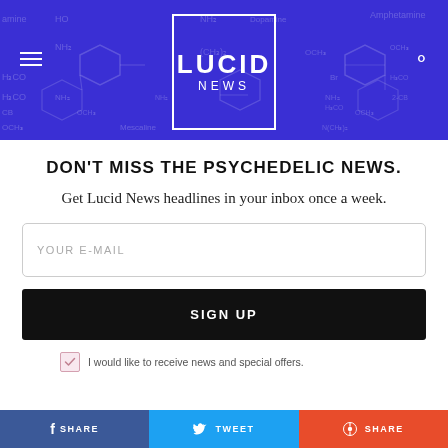[Figure (logo): Lucid News logo in white text inside a white border box on a blue/purple background with chemical structure diagrams (Dopamine, Mescaline, Amphetamine, 2-CB) as watermark. Hamburger menu icon on left, search icon on right.]
DON'T MISS THE PSYCHEDELIC NEWS.
Get Lucid News headlines in your inbox once a week.
YOUR E-MAIL
SIGN UP
I would like to receive news and special offers.
[Figure (infographic): Three social share buttons: SHARE (Facebook, dark blue), TWEET (Twitter, cyan blue), SHARE (Reddit/other, orange-red)]